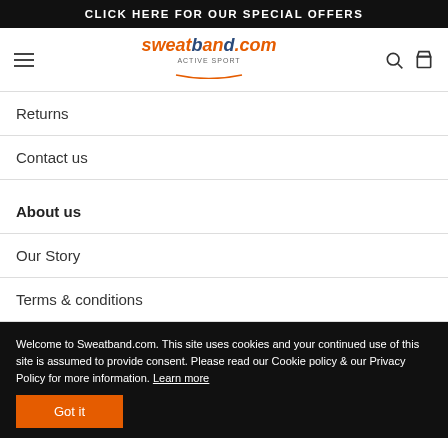CLICK HERE FOR OUR SPECIAL OFFERS
[Figure (logo): Sweatband.com active sport logo with hamburger menu, search and cart icons]
Returns
Contact us
About us
Our Story
Terms & conditions
Welcome to Sweatband.com. This site uses cookies and your continued use of this site is assumed to provide consent. Please read our Cookie policy & our Privacy Policy for more information. Learn more
Got it